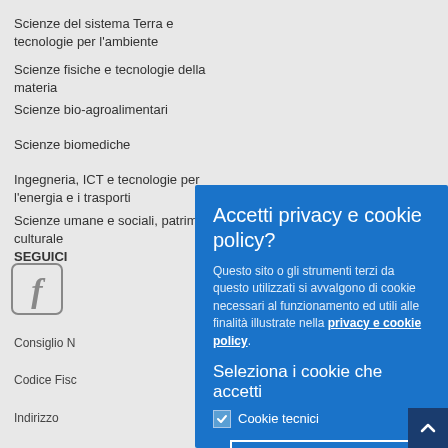Scienze del sistema Terra e tecnologie per l'ambiente
Scienze fisiche e tecnologie della materia
Scienze bio-agroalimentari
Scienze biomediche
Ingegneria, ICT e tecnologie per l'energia e i trasporti
Scienze umane e sociali, patrimonio culturale
SEGUICI
[Figure (illustration): Facebook icon square logo]
Consiglio N
Codice Fisc
Indirizzo
[Figure (screenshot): Cookie consent overlay dialog with title 'Accetti privacy e cookie policy?', description text about cookie usage, link to privacy e cookie policy, section 'Seleziona i cookie che accetti', checkbox for Cookie tecnici, and button 'Accetto i cookie']